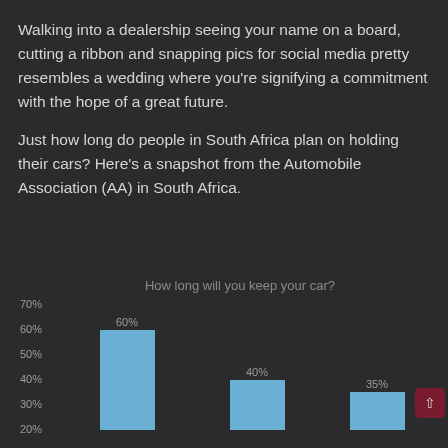Walking into a dealership seeing your name on a board, cutting a ribbon and snapping pics for social media pretty resembles a wedding where you're signifying a commitment with the hope of a great future.
Just how long do people in South Africa plan on holding their cars? Here's a snapshot from the Automobile Association (AA) in South Africa.
[Figure (bar-chart): How long will you keep your car?]